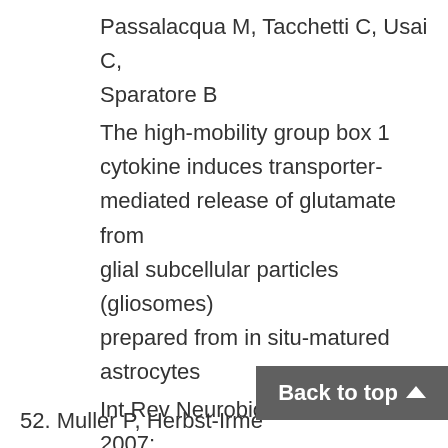Passalacqua M, Tacchetti C, Usai C, Sparatore B
The high-mobility group box 1 cytokine induces transporter-mediated release of glutamate from glial subcellular particles (gliosomes) prepared from in situ-matured astrocytes
Int Rev Neurobiol; 82:73-93; 2007; IF:1.868
52. Muller P, Herbst-Irme...